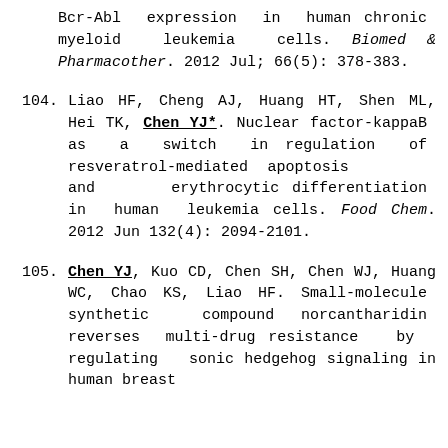Bcr-Abl expression in human chronic myeloid leukemia cells. Biomed & Pharmacother. 2012 Jul; 66(5): 378-383.
104. Liao HF, Cheng AJ, Huang HT, Shen ML, Hei TK, Chen YJ*. Nuclear factor-kappaB as a switch in regulation of resveratrol-mediated apoptosis and erythrocytic differentiation in human leukemia cells. Food Chem. 2012 Jun 132(4): 2094-2101.
105. Chen YJ, Kuo CD, Chen SH, Chen WJ, Huang WC, Chao KS, Liao HF. Small-molecule synthetic compound norcantharidin reverses multi-drug resistance by regulating sonic hedgehog signaling in human breast